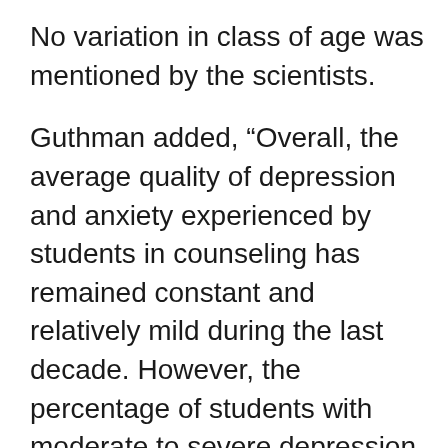No variation in class of age was mentioned by the scientists.
Guthman added, “Overall, the average quality of depression and anxiety experienced by students in counseling has remained constant and relatively mild during the last decade. However, the percentage of students with moderate to severe depression has gone up from 34 to 41 percent. These outliers often require significantly more resources and may contribute greatly to the misperception that the average